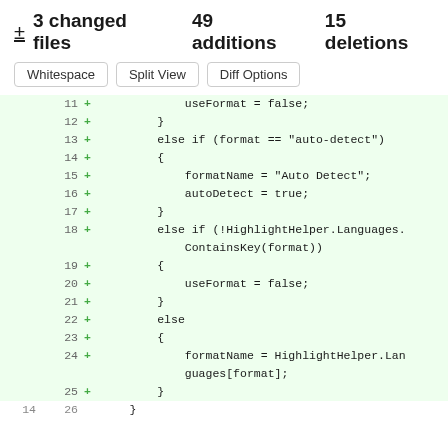± 3 changed files 49 additions 15 deletions
[Figure (screenshot): Diff view buttons: Whitespace, Split View, Diff Options]
Code diff showing lines 11-26 with additions (+) in green. Lines: 11+ useFormat = false; 12+ } 13+ else if (format == "auto-detect") 14+ { 15+ formatName = "Auto Detect"; 16+ autoDetect = true; 17+ } 18+ else if (!HighlightHelper.Languages.ContainsKey(format)) 19+ { 20+ useFormat = false; 21+ } 22+ else 23+ { 24+ formatName = HighlightHelper.Languages[format]; 25+ } 14/26 }